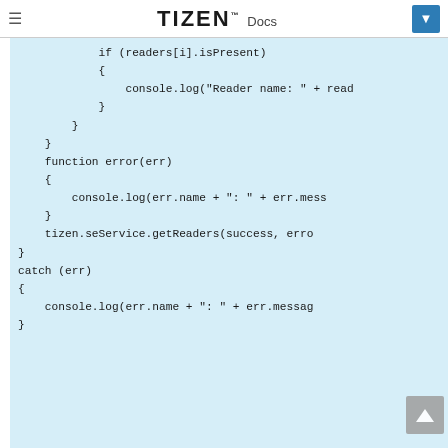TIZEN™ Docs
[Figure (screenshot): Tizen Docs website header with hamburger menu, TIZEN Docs logo, and dropdown button]
if (readers[i].isPresent)
            {
                console.log("Reader name: " + read
            }
        }
    }
    function error(err)
    {
        console.log(err.name + ": " + err.mess
    }
    tizen.seService.getReaders(success, erro
}
catch (err)
{
    console.log(err.name + ": " + err.messag
}